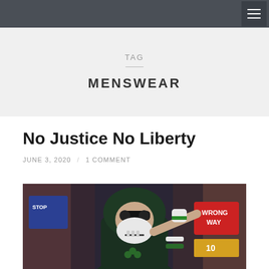Navigation bar with hamburger menu
TAG — MENSWEAR
No Justice No Liberty
JUNE 3, 2020 / 1 COMMENT
[Figure (photo): A person wearing a green hoodie and a skull-patterned face mask, with sunglasses, pointing a finger toward the camera. Background shows colorful urban signs including a red 'WRONG WAY' sign.]